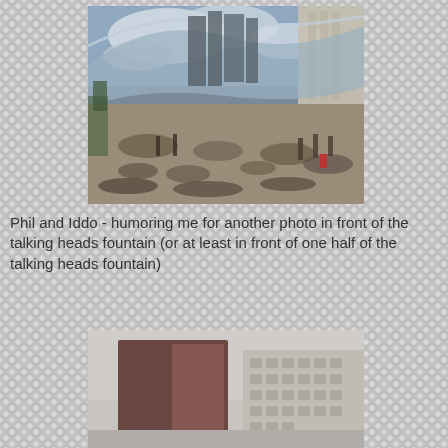[Figure (photo): Photo of the Cloud Gate (The Bean) sculpture in Chicago's Millennium Park, reflecting the skyline and crowds of people on the plaza below.]
Phil and Iddo - humoring me for another photo in front of the talking heads fountain (or at least in front of one half of the talking heads fountain)
[Figure (photo): Photo of a large rectangular video screen/fountain (Crown Fountain) in Chicago's Millennium Park with city buildings visible in the background.]